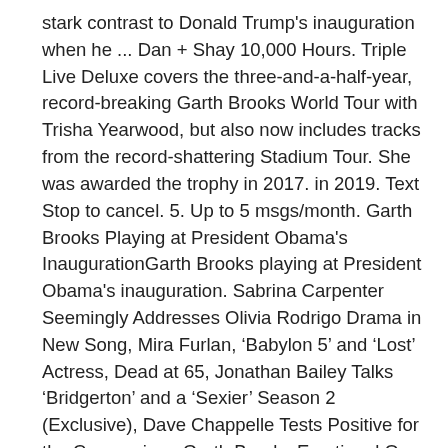stark contrast to Donald Trump's inauguration when he ... Dan + Shay 10,000 Hours. Triple Live Deluxe covers the three-and-a-half-year, record-breaking Garth Brooks World Tour with Trisha Yearwood, but also now includes tracks from the record-shattering Stadium Tour. She was awarded the trophy in 2017. in 2019. Text Stop to cancel. 5. Up to 5 msgs/month. Garth Brooks Playing at President Obama's InaugurationGarth Brooks playing at President Obama's inauguration. Sabrina Carpenter Seemingly Addresses Olivia Rodrigo Drama in New Song, Mira Furlan, 'Babylon 5' and 'Lost' Actress, Dead at 65, Jonathan Bailey Talks 'Bridgerton' and a 'Sexier' Season 2 (Exclusive), Dave Chappelle Tests Positive for the Coronavirus, Garth Brooks Emotional Over Gershwin Prize Honor and Remembering His Late Mother | Full Interview. Watch the video for Learning to Live Again from Garth Brooks's The Ultimate Hits for free, and see the artwork, lyrics and similar artists. He had his chart